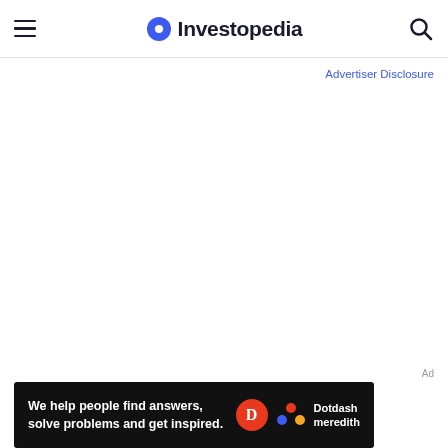Investopedia
Advertiser Disclosure
[Figure (screenshot): Dotdash Meredith advertisement banner: black background with text 'We help people find answers, solve problems and get inspired.' with Dotdash Meredith logo]